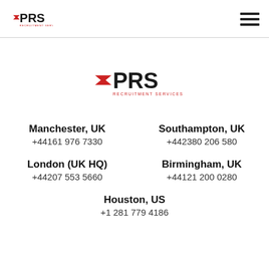PRS Recruitment Services
[Figure (logo): PRS Recruitment Services logo centered on page]
Manchester, UK
+44161 976 7330
Southampton, UK
+442380 206 580
London (UK HQ)
+44207 553 5660
Birmingham, UK
+44121 200 0280
Houston, US
+1 281 779 4186